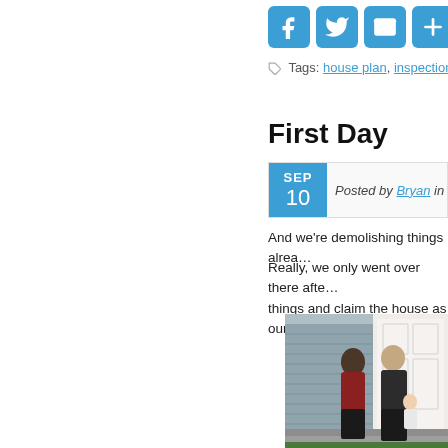[Figure (other): Social sharing icons: Facebook, Twitter, Email, Share/Plus — blue rounded square buttons]
Tags: house plan, inspection, permit
First Day
SEP 10 — Posted by Bryan in Din…
And we're demolishing things alrea…
Really, we only went over there afte… things and claim the house as ours…
[Figure (photo): Family photo: two adults and a baby sitting on front porch steps in front of a blue-sided house with white door]